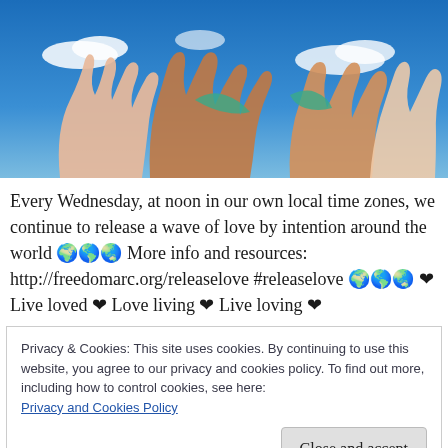[Figure (photo): Hands of diverse people reaching up together against a blue sky with clouds]
Every Wednesday, at noon in our own local time zones, we continue to release a wave of love by intention around the world 🌍🌎🌏 More info and resources: http://freedomarc.org/releaselove #releaselove 🌍🌎🌏 ❤ Live loved ❤ Love living ❤ Live loving ❤
Privacy & Cookies: This site uses cookies. By continuing to use this website, you agree to our privacy and cookies policy. To find out more, including how to control cookies, see here: Privacy and Cookies Policy